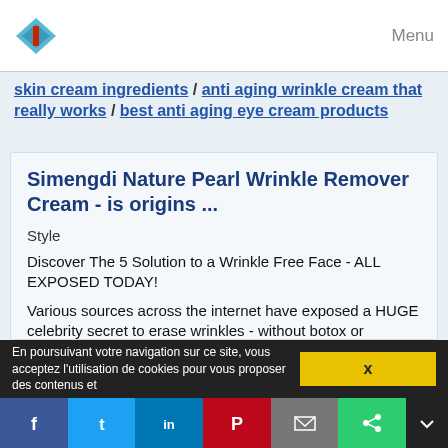Menu
skin cream ingredients / anti aging wrinkle cream that really works / best anti aging eye cream products
Simengdi Nature Pearl Wrinkle Remover Cream - is origins ...
Style
Discover The 5 Solution to a Wrinkle Free Face - ALL EXPOSED TODAY!
Various sources across the internet have exposed a HUGE celebrity secret to erase wrinkles - without botox or surgery!
How do Hollywood starlets look so radiant and youthful well into thier 40's, 50's, and even 60's? Is it always expensive botox and dangerous plastic surgery? According to various sources, the answer is...
Read more
En poursuivant votre navigation sur ce site, vous acceptez l'utilisation de cookies pour vous proposer des contenus et
x